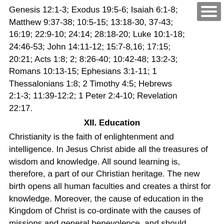Genesis 12:1-3; Exodus 19:5-6; Isaiah 6:1-8; Matthew 9:37-38; 10:5-15; 13:18-30, 37-43; 16:19; 22:9-10; 24:14; 28:18-20; Luke 10:1-18; 24:46-53; John 14:11-12; 15:7-8,16; 17:15; 20:21; Acts 1:8; 2; 8:26-40; 10:42-48; 13:2-3; Romans 10:13-15; Ephesians 3:1-11; 1 Thessalonians 1:8; 2 Timothy 4:5; Hebrews 2:1-3; 11:39-12:2; 1 Peter 2:4-10; Revelation 22:17.
XII. Education
Christianity is the faith of enlightenment and intelligence. In Jesus Christ abide all the treasures of wisdom and knowledge. All sound learning is, therefore, a part of our Christian heritage. The new birth opens all human faculties and creates a thirst for knowledge. Moreover, the cause of education in the Kingdom of Christ is co-ordinate with the causes of missions and general benevolence, and should receive along with these the liberal support of the churches. An adequate system of Christian education is necessary to a complete spiritual program for Christ's people.
In Christian education there should be a proper balance between academic freedom and academic responsibility. Freedom in any orderly relationship of human life is always limited and never absolute. The freedom of a teacher in a Christian school, college, or seminary is limited by the pre-eminence of Jesus Christ, by the